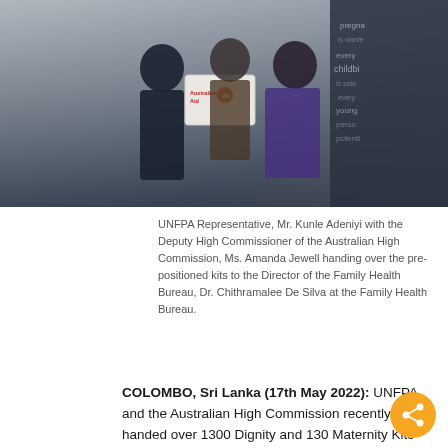[Figure (photo): Photo of UNFPA Representative Mr. Kunle Adeniyi with the Deputy High Commissioner of the Australian High Commission Ms. Amanda Jewell handing over pre-positioned kits to the Director of the Family Health Bureau Dr. Chithramalee De Silva at the Family Health Bureau.]
UNFPA Representative, Mr. Kunle Adeniyi with the Deputy High Commissioner of the Australian High Commission, Ms. Amanda Jewell handing over the pre-positioned kits to the Director of the Family Health Bureau, Dr. Chithramalee De Silva at the Family Health Bureau.
COLOMBO, Sri Lanka (17th May 2022): UNFPA and the Australian High Commission recently handed over 1300 Dignity and 130 Maternity Kits worth USD 35,230, made available under the Regional Pre-positioning Initiative funded by the Government of Australia, to the Family Health Bureau of the Ministry of Health.
The current socio-economic crisis is having far-reaching implications on the ability of women and girls to live in